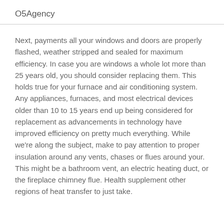O5Agency
Next, payments all your windows and doors are properly flashed, weather stripped and sealed for maximum efficiency. In case you are windows a whole lot more than 25 years old, you should consider replacing them. This holds true for your furnace and air conditioning system. Any appliances, furnaces, and most electrical devices older than 10 to 15 years end up being considered for replacement as advancements in technology have improved efficiency on pretty much everything. While we're along the subject, make to pay attention to proper insulation around any vents, chases or flues around your. This might be a bathroom vent, an electric heating duct, or the fireplace chimney flue. Health supplement other regions of heat transfer to just take.